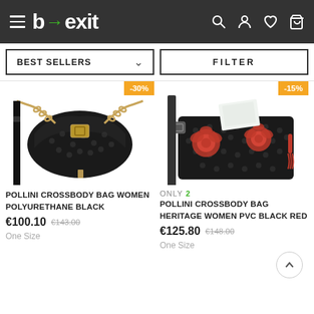[Figure (screenshot): b→exit e-commerce website header with hamburger menu, logo, search, account, wishlist, and cart icons on dark background]
[Figure (screenshot): Filter bar with BEST SELLERS dropdown on left and FILTER button on right]
[Figure (photo): Pollini crossbody bag women polyurethane black with chain strap on white background, -30% discount badge]
POLLINI CROSSBODY BAG WOMEN POLYURETHANE BLACK
€100.10 €143.00
One Size
[Figure (photo): Pollini crossbody bag heritage women PVC black red with floral pattern, -15% discount badge, ONLY 2 remaining]
ONLY 2 POLLINI CROSSBODY BAG HERITAGE WOMEN PVC BLACK RED
€125.80 €148.00
One Size